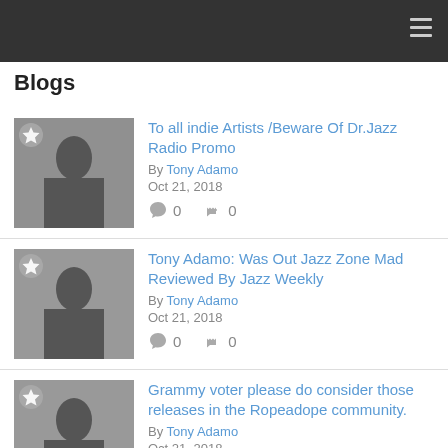Blogs
To all indie Artists /Beware Of Dr.Jazz Radio Promo
By Tony Adamo
Oct 21, 2018
0 comments 0 likes
Tony Adamo: Was Out Jazz Zone Mad Reviewed By Jazz Weekly
By Tony Adamo
Oct 21, 2018
0 comments 0 likes
Grammy voter please do consider those releases in the Ropeadope community.
By Tony Adamo
Oct 21, 2018
0 comments 0 likes